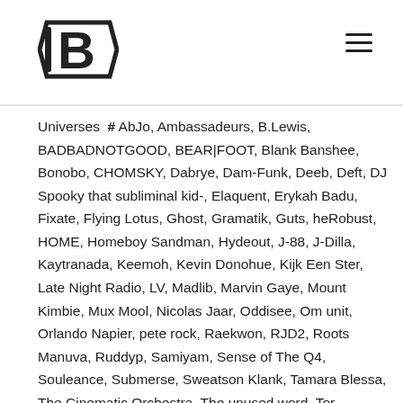[Logo: B3] [Hamburger menu icon]
Universes # AbJo, Ambassadeurs, B.Lewis, BADBADNOTGOOD, BEAR|FOOT, Blank Banshee, Bonobo, CHOMSKY, Dabrye, Dam-Funk, Deeb, Deft, DJ Spooky that subliminal kid-, Elaquent, Erykah Badu, Fixate, Flying Lotus, Ghost, Gramatik, Guts, heRobust, HOME, Homeboy Sandman, Hydeout, J-88, J-Dilla, Kaytranada, Keemoh, Kevin Donohue, Kijk Een Ster, Late Night Radio, LV, Madlib, Marvin Gaye, Mount Kimbie, Mux Mool, Nicolas Jaar, Oddisee, Om unit, Orlando Napier, pete rock, Raekwon, RJD2, Roots Manuva, Ruddyp, Samiyam, Sense of The Q4, Souleance, Submerse, Sweatson Klank, Tamara Blessa, The Cinematic Orchestra, The unused word, Tor
The Andromeda Galaxy (/æn'drɒmɪdə/), also known as Messier 31, M31, or NGC 224, is a spiral galaxy approximately 780